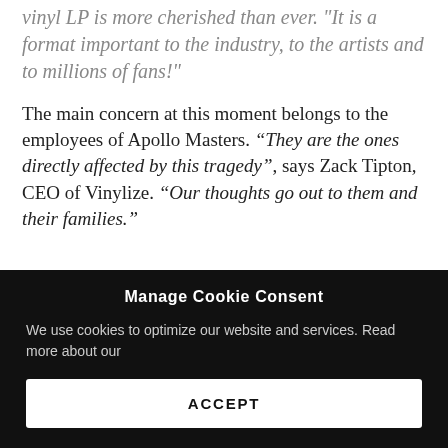vinyl LP is more cherished than ever. "It is a format important to the industry, to the artists and to millions of fans"!
The main concern at this moment belongs to the employees of Apollo Masters. “They are the ones directly affected by this tragedy”, says Zack Tipton, CEO of Vinylize. “Our thoughts go out to them and their families.”
Manage Cookie Consent
We use cookies to optimize our website and services. Read more about our
ACCEPT